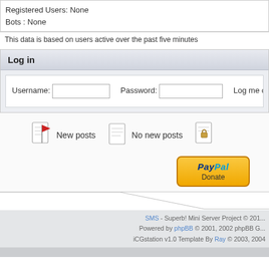Registered Users: None
Bots : None
This data is based on users active over the past five minutes
Log in
Username: [input] Password: [input] Log me on
[Figure (illustration): Forum icons: new posts (document with red flag), no new posts (plain document), locked (document with lock)]
New posts
No new posts
[Figure (logo): PayPal Donate button]
SMS - Superb! Mini Server Project © 201... Powered by phpBB © 2001, 2002 phpBB G... iCGstation v1.0 Template By Ray © 2003, 2004